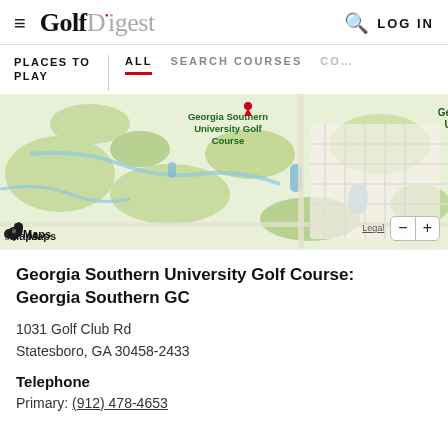Golf Digest — LOG IN
PLACES TO PLAY | ALL  SEARCH COURSES  CO…
[Figure (map): Apple Maps screenshot showing Georgia Southern University Golf Course location in Statesboro, GA area. Green terrain with roads. Map label reads 'Georgia Southern University Golf Course'. Apple Maps branding at bottom left with Legal link and zoom controls.]
Georgia Southern University Golf Course: Georgia Southern GC
1031 Golf Club Rd
Statesboro, GA 30458-2433
Telephone
Primary: (912) 478-4653